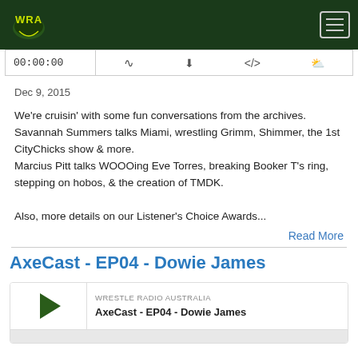WRA logo | Hamburger menu
[Figure (screenshot): Audio player bar showing 00:00:00 timestamp and playback control icons]
Dec 9, 2015
We're cruisin' with some fun conversations from the archives. Savannah Summers talks Miami, wrestling Grimm, Shimmer, the 1st CityChicks show & more.
Marcius Pitt talks WOOOing Eve Torres, breaking Booker T's ring, stepping on hobos, & the creation of TMDK.

Also, more details on our Listener's Choice Awards...
Read More
AxeCast - EP04 - Dowie James
[Figure (screenshot): Podcast player widget showing play button, WRESTLE RADIO AUSTRALIA label, and AxeCast - EP04 - Dowie James episode title]